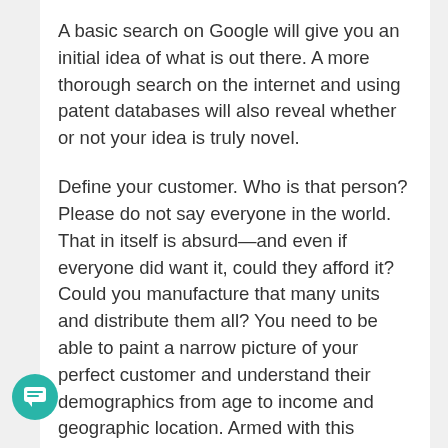A basic search on Google will give you an initial idea of what is out there. A more thorough search on the internet and using patent databases will also reveal whether or not your idea is truly novel.
Define your customer. Who is that person? Please do not say everyone in the world. That in itself is absurd—and even if everyone did want it, could they afford it? Could you manufacture that many units and distribute them all? You need to be able to paint a narrow picture of your perfect customer and understand their demographics from age to income and geographic location. Armed with this information, it becomes easier to quantify the size of the potential market and do the necessary research to
[Figure (other): Teal circular chat/message button icon in bottom-left corner]